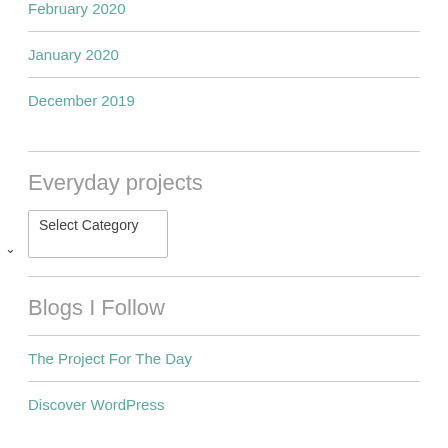February 2020
January 2020
December 2019
Everyday projects
Select Category
Blogs I Follow
The Project For The Day
Discover WordPress